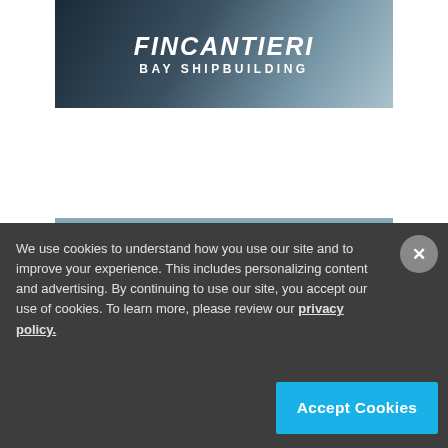[Figure (logo): Fincantieri Bay Shipbuilding advertisement banner with bold white italic text on dark blue-grey rainy background. Text reads FINCANTIERI in large bold italic letters and BAY SHIPBUILDING below in smaller bold letters.]
[Figure (logo): KVH ONE advertisement banner. KVH logo in red rectangle at top center, followed by large bold white text ONE on ocean water background.]
We use cookies to understand how you use our site and to improve your experience. This includes personalizing content and advertising. By continuing to use our site, you accept our use of cookies. To learn more, please review our privacy policy.